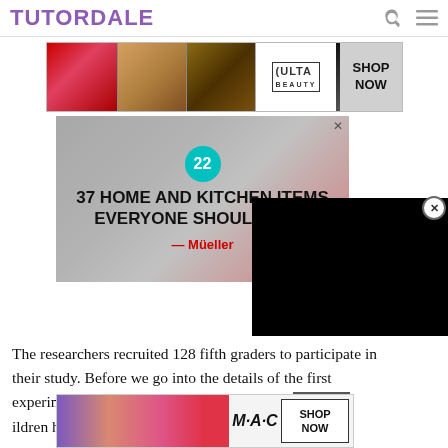TUTORDALE
[Figure (photo): Ulta Beauty advertisement banner with makeup photos and SHOP NOW button]
[Figure (photo): Advertisement: 37 HOME AND KITCHEN ITEMS EVERYONE SHOULD OWN - Mueller brand, with teal badge showing 22]
[Figure (photo): Black video player box overlaid on right side]
The researchers recruited 128 fifth graders to participate in their study. Before we go into the details of the first experiment, please get a feel for the task that children had to
[Figure (photo): MAC Cosmetics advertisement banner with lipstick imagery and SHOP NOW button]